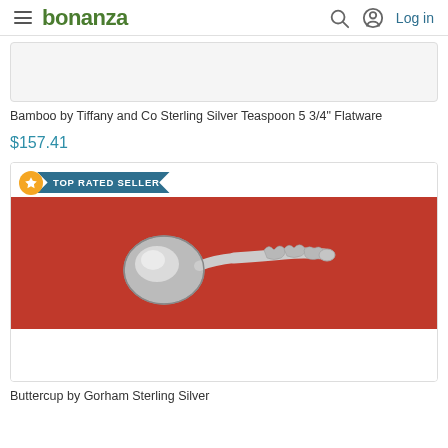bonanza | Log in
[Figure (photo): Product image area for Bamboo by Tiffany and Co Sterling Silver Teaspoon (partially shown, cropped at top)]
Bamboo by Tiffany and Co Sterling Silver Teaspoon 5 3/4" Flatware
$157.41
[Figure (photo): Photo of a sterling silver sauce ladle with ornate floral handle (Buttercup by Gorham) on a red background. Badge overlay reads TOP RATED SELLER.]
Buttercup by Gorham Sterling Silver